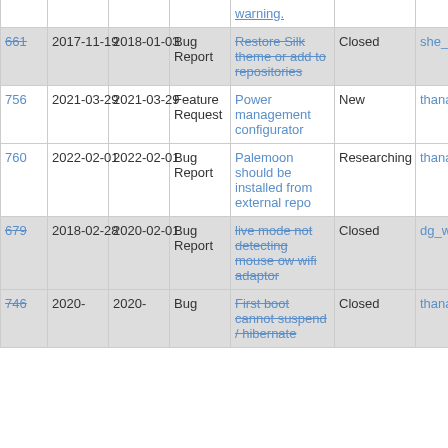| ID | Created | Updated | Type | Description | Status | Owner | % |
| --- | --- | --- | --- | --- | --- | --- | --- |
| warning. |  |  |  |  |  |  |  |
| -661- | 2017-11-19 | 2018-01-03 | Bug Report | -Restore Silk theme or add to repositories- | Closed | she_died | 100% |
| 756 | 2021-03-29 | 2021-03-29 | Feature Request | Power management configurator | New | thanatermesis | 0% |
| 760 | 2022-02-01 | 2022-02-01 | Bug Report | Palemoon should be installed from external repo | Researching | thanatermesis | 0% |
| -679- | 2018-02-28 | 2020-02-01 | Bug Report | -live mode not detecting mouse ow wifi adaptor- | Closed | dg_w | 100% |
| -746- | 2020- | 2020- | Bug | -First boot cannot suspend / hibernate- | Closed | thanatermesis | 100% |